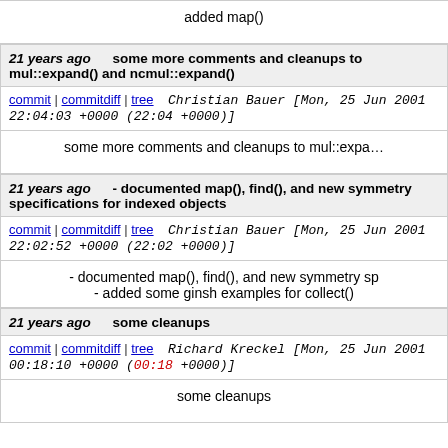added map()
21 years ago     some more comments and cleanups to mul::expand() and ncmul::expand()
commit | commitdiff | tree   Christian Bauer [Mon, 25 Jun 2001 22:04:03 +0000 (22:04 +0000)]
some more comments and cleanups to mul::expa...
21 years ago     - documented map(), find(), and new symmetry specifications for indexed objects
commit | commitdiff | tree   Christian Bauer [Mon, 25 Jun 2001 22:02:52 +0000 (22:02 +0000)]
- documented map(), find(), and new symmetry sp
- added some ginsh examples for collect()
21 years ago     some cleanups
commit | commitdiff | tree   Richard Kreckel [Mon, 25 Jun 2001 00:18:10 +0000 (00:18 +0000)]
some cleanups